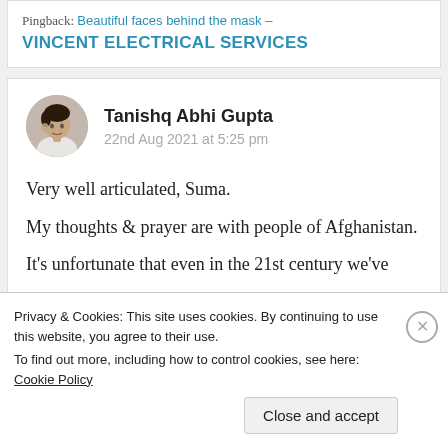Pingback: Beautiful faces behind the mask – VINCENT ELECTRICAL SERVICES
[Figure (photo): Circular avatar photo of Tanishq Abhi Gupta, a young man in white]
Tanishq Abhi Gupta
22nd Aug 2021 at 5:25 pm
Very well articulated, Suma.
My thoughts & prayer are with people of Afghanistan.
It's unfortunate that even in the 21st century we've
Privacy & Cookies: This site uses cookies. By continuing to use this website, you agree to their use.
To find out more, including how to control cookies, see here: Cookie Policy
Close and accept